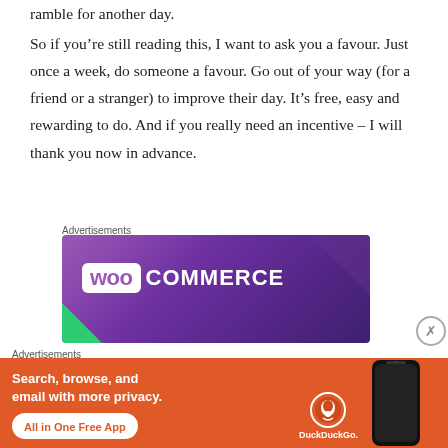ramble for another day.
So if you're still reading this, I want to ask you a favour. Just once a week, do someone a favour. Go out of your way (for a friend or a stranger) to improve their day. It's free, easy and rewarding to do. And if you really need an incentive – I will thank you now in advance.
Advertisements
[Figure (screenshot): WooCommerce advertisement banner with purple gradient background and white WooCommerce logo text]
Advertisements
[Figure (screenshot): DuckDuckGo advertisement banner with orange background, text 'Search, browse, and email with more privacy. All in One Free App', phone mockup and DuckDuckGo logo]